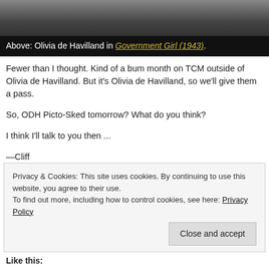[Figure (photo): Black and white partial photo of a woman (Olivia de Havilland), cropped at top]
Above: Olivia de Havilland in Government Girl (1943).
Fewer than I thought. Kind of a bum month on TCM outside of Olivia de Havilland. But it's Olivia de Havilland, so we'll give them a pass.
So, ODH Picto-Sked tomorrow? What do you think?
I think I'll talk to you then ...
—Cliff
Privacy & Cookies: This site uses cookies. By continuing to use this website, you agree to their use. To find out more, including how to control cookies, see here: Privacy Policy
Like this: